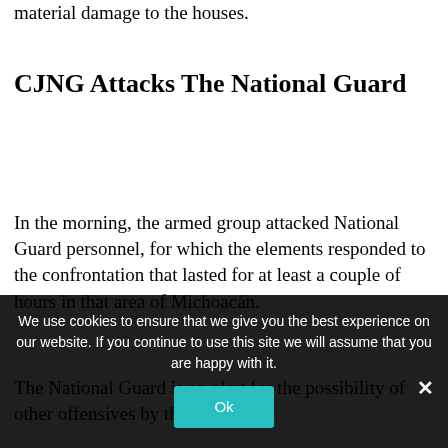material damage to the houses.
CJNG Attacks The National Guard
In the morning, the armed group attacked National Guard personnel, for which the elements responded to the confrontation that lasted for at least a couple of hours in that area of Michoacán.
The National Guard is on alert for the possibility of other offensives by the
We use cookies to ensure that we give you the best experience on our website. If you continue to use this site we will assume that you are happy with it.
Ok